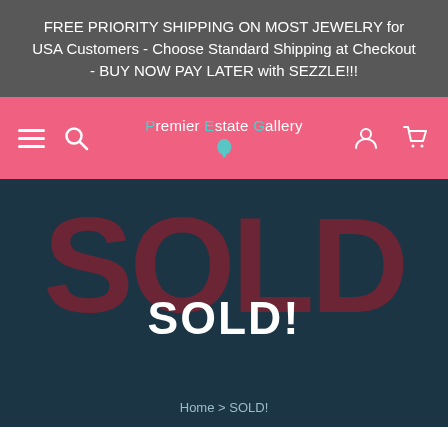FREE PRIORITY SHIPPING ON MOST JEWELRY for USA Customers - Choose Standard Shipping at Checkout - BUY NOW PAY LATER with SEZZLE!!!
[Figure (screenshot): Navigation bar with hamburger menu, search icon, Premier Estate Gallery logo with teal gem icon, user account icon, and shopping cart icon on a coral/pink background]
SOLD!
Home > SOLD!